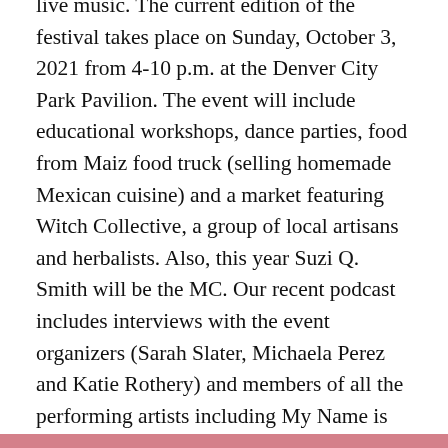live music. The current edition of the festival takes place on Sunday, October 3, 2021 from 4-10 p.m. at the Denver City Park Pavilion. The event will include educational workshops, dance parties, food from Maiz food truck (selling homemade Mexican cuisine) and a market featuring Witch Collective, a group of local artisans and herbalists. Also, this year Suzi Q. Smith will be the MC. Our recent podcast includes interviews with the event organizers (Sarah Slater, Michaela Perez and Katie Rothery) and members of all the performing artists including My Name is Harriet, Machete Mouth,
Privacy & Cookies: This site uses cookies. By continuing to use this website, you agree to their use. To find out more, including how to control cookies, see here: Cookie Policy
Close and accept